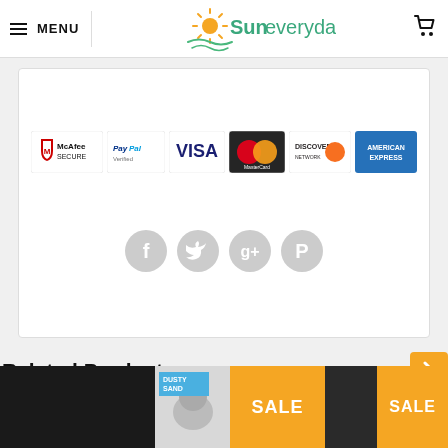MENU | Suneveryday
[Figure (logo): Suneveryday logo with sun and waves icon in yellow/orange and teal green text]
[Figure (infographic): Payment security badges: McAfee SECURE, PayPal, VISA, MasterCard, Discover Network, American Express]
[Figure (infographic): Social media share icons: Facebook, Twitter, Google+, Pinterest — all in light gray]
Related Products
[Figure (photo): Dark product thumbnail image on left, dog/animal photo with DUSTY SAND label and SALE badge in center, dark product with SALE badge on right]